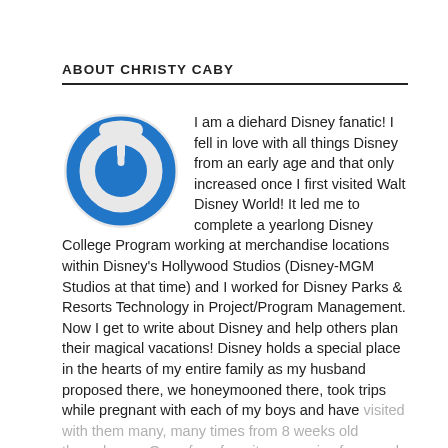ABOUT CHRISTY CABY
[Figure (logo): Circular avatar icon with blue power button symbol on light gray background]
I am a diehard Disney fanatic! I fell in love with all things Disney from an early age and that only increased once I first visited Walt Disney World! It led me to complete a yearlong Disney College Program working at merchandise locations within Disney's Hollywood Studios (Disney-MGM Studios at that time) and I worked for Disney Parks & Resorts Technology in Project/Program Management. Now I get to write about Disney and help others plan their magical vacations! Disney holds a special place in the hearts of my entire family as my husband proposed there, we honeymooned there, took trips while pregnant with each of my boys and have visited with them many, many times from 8 weeks old through now. One of my favorite memories from each trip is always the look